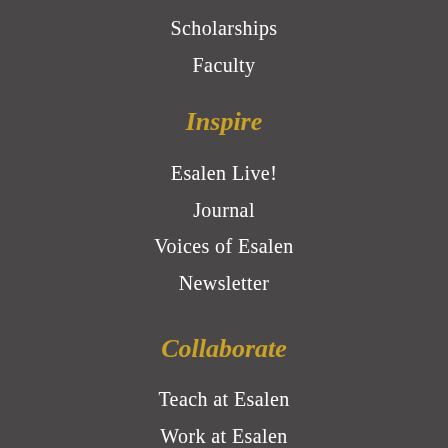Scholarships
Faculty
Inspire
Esalen Live!
Journal
Voices of Esalen
Newsletter
Collaborate
Teach at Esalen
Work at Esalen